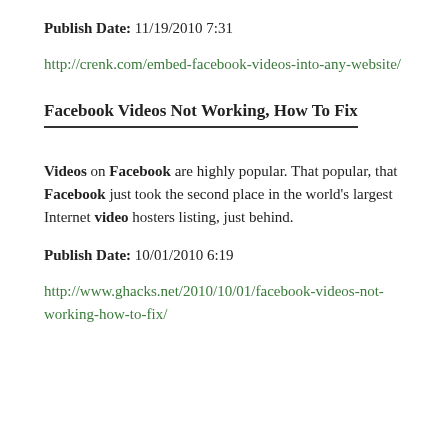Publish Date: 11/19/2010 7:31
http://crenk.com/embed-facebook-videos-into-any-website/
Facebook Videos Not Working, How To Fix
Videos on Facebook are highly popular. That popular, that Facebook just took the second place in the world's largest Internet video hosters listing, just behind.
Publish Date: 10/01/2010 6:19
http://www.ghacks.net/2010/10/01/facebook-videos-not-working-how-to-fix/